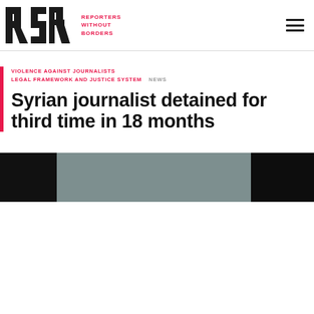RSF REPORTERS WITHOUT BORDERS
VIOLENCE AGAINST JOURNALISTS
LEGAL FRAMEWORK AND JUSTICE SYSTEM  NEWS
Syrian journalist detained for third time in 18 months
[Figure (photo): Dark horizontal photo strip showing a journalist or related scene, mostly dark with a grey/blue-tinted center section]